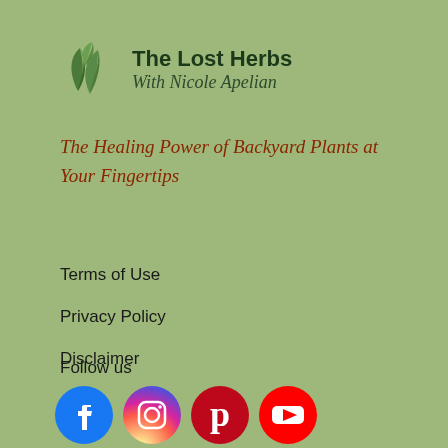[Figure (logo): The Lost Herbs logo with two green leaf icons and text 'The Lost Herbs With Nicole Apelian']
The Healing Power of Backyard Plants at Your Fingertips
Terms of Use
Privacy Policy
Disclaimer
Follow us
[Figure (illustration): Social media icons: Facebook, Instagram, Pinterest, YouTube]